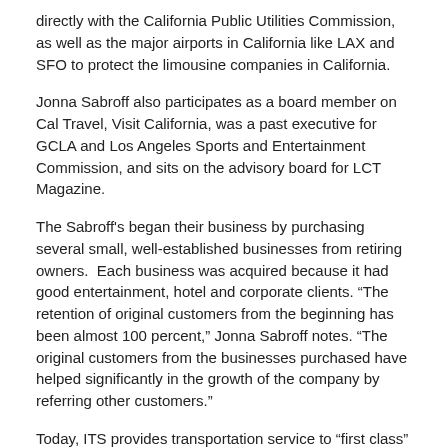directly with the California Public Utilities Commission, as well as the major airports in California like LAX and SFO to protect the limousine companies in California.
Jonna Sabroff also participates as a board member on Cal Travel, Visit California, was a past executive for GCLA and Los Angeles Sports and Entertainment Commission, and sits on the advisory board for LCT Magazine.
The Sabroff's began their business by purchasing several small, well-established businesses from retiring owners. Each business was acquired because it had good entertainment, hotel and corporate clients. “The retention of original customers from the beginning has been almost 100 percent,” Jonna Sabroff notes. “The original customers from the businesses purchased have helped significantly in the growth of the company by referring other customers.”
Today, ITS provides transportation service to “first class” passengers under contracts with Emirates Airlines, Entertainment Tonight, CNN and the Los Angeles Tourism and Convention Board. The company also serves many corporations, groups, meetings and conventions as well as various hotels in Santa Monica, Hollywood,